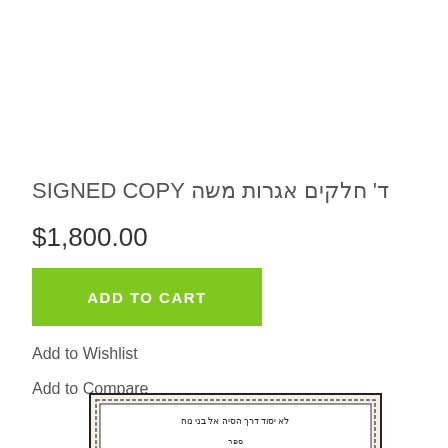SIGNED COPY ד' חלקים אגרות משה
$1,800.00
ADD TO CART
Add to Wishlist
Add to Compare
[Figure (photo): Book cover image of a Hebrew religious book with ornate border, title in Hebrew large letters]